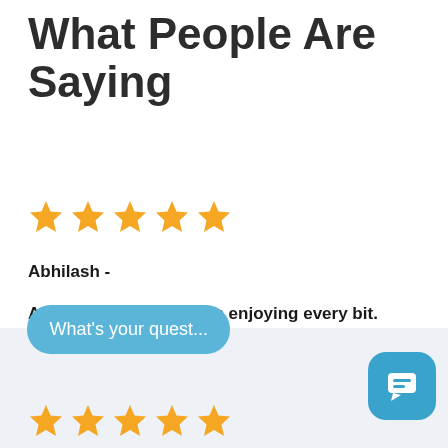What People Are Saying
★★★★★
Abhilash -
A very good match. i am enjoying every bit.
What's your quest...
★★★★★